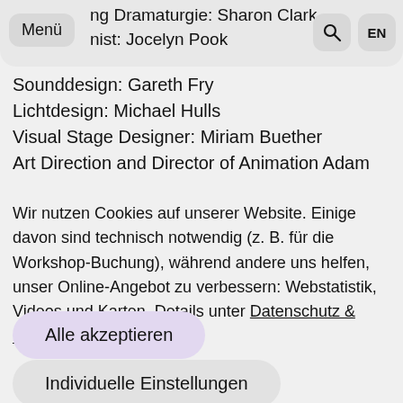Menü | ng Dramaturgie: Sharon Clark | nist: Jocelyn Pook | Q | EN
Sounddesign: Gareth Fry
Lichtdesign: Michael Hulls
Visual Stage Designer: Miriam Buether
Art Direction and Director of Animation Adam
Wir nutzen Cookies auf unserer Website. Einige davon sind technisch notwendig (z. B. für die Workshop-Buchung), während andere uns helfen, unser Online-Angebot zu verbessern: Webstatistik, Videos und Karten. Details unter Datenschutz & Cookies
Alle akzeptieren
Individuelle Einstellungen